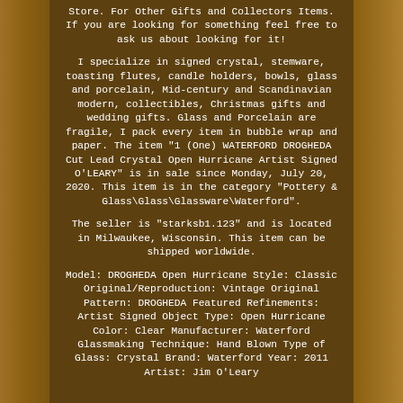Store. For Other Gifts and Collectors Items. If you are looking for something feel free to ask us about looking for it!
I specialize in signed crystal, stemware, toasting flutes, candle holders, bowls, glass and porcelain, Mid-century and Scandinavian modern, collectibles, Christmas gifts and wedding gifts. Glass and Porcelain are fragile, I pack every item in bubble wrap and paper. The item "1 (One) WATERFORD DROGHEDA Cut Lead Crystal Open Hurricane Artist Signed O'LEARY" is in sale since Monday, July 20, 2020. This item is in the category "Pottery & Glass\Glass\Glassware\Waterford".
The seller is "starksb1.123" and is located in Milwaukee, Wisconsin. This item can be shipped worldwide.
Model: DROGHEDA Open Hurricane Style: Classic Original/Reproduction: Vintage Original Pattern: DROGHEDA Featured Refinements: Artist Signed Object Type: Open Hurricane Color: Clear Manufacturer: Waterford Glassmaking Technique: Hand Blown Type of Glass: Crystal Brand: Waterford Year: 2011 Artist: Jim O'Leary